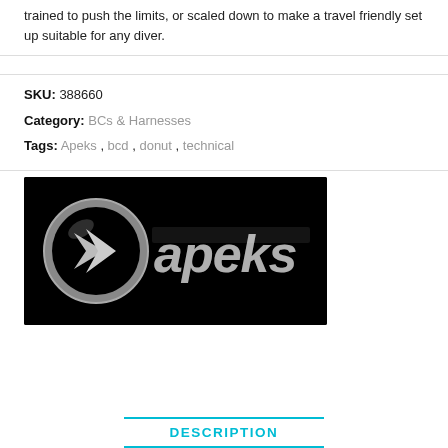trained to push the limits, or scaled down to make a travel friendly set up suitable for any diver.
SKU: 388660
Category: BCs & Harnesses
Tags: Apeks, bcd, donut, technical
[Figure (logo): Apeks brand logo: silver metallic 'apeks' text with a circular icon on a black background]
DESCRIPTION